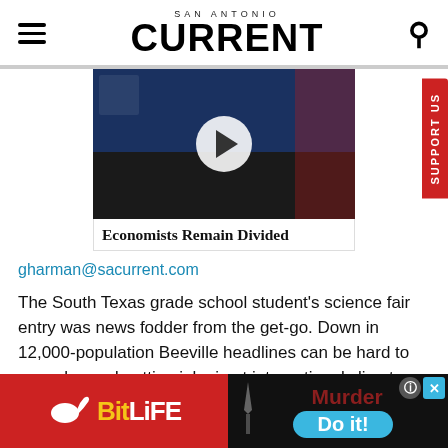SAN ANTONIO CURRENT
[Figure (screenshot): Video thumbnail of a person at a podium with American flag background and a play button overlay]
Economists Remain Divided
gharman@sacurrent.com
The South Texas grade school student's science fair entry was news fodder from the get-go. Down in 12,000-population Beeville headlines can be hard to come by, and getting jobs in at international climate conference even
[Figure (screenshot): Advertisement bar: BitLife app ad (red background, yellow/white text) and Murder game ad (black background with blue Do it button)]